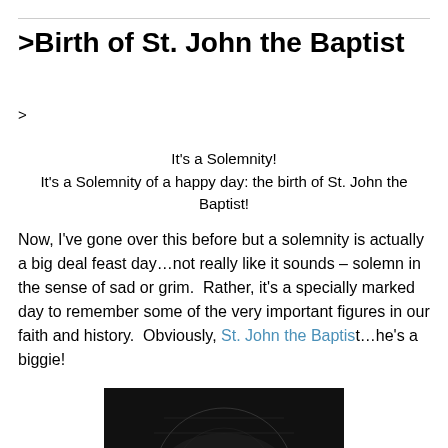>Birth of St. John the Baptist
>
It's a Solemnity!
It's a Solemnity of a happy day: the birth of St. John the Baptist!
Now, I've gone over this before but a solemnity is actually a big deal feast day…not really like it sounds – solemn in the sense of sad or grim.  Rather, it's a specially marked day to remember some of the very important figures in our faith and history.  Obviously, St. John the Baptist…he's a biggie!
[Figure (photo): Bottom portion of a black and white image, partially visible at the bottom of the page]